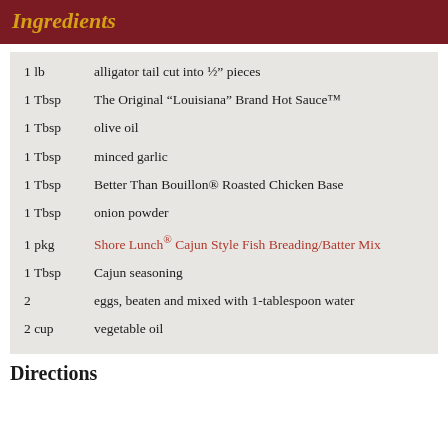Ingredients
1 lb — alligator tail cut into ½” pieces
1 Tbsp — The Original “Louisiana” Brand Hot Sauce™
1 Tbsp — olive oil
1 Tbsp — minced garlic
1 Tbsp — Better Than Bouillon® Roasted Chicken Base
1 Tbsp — onion powder
1 pkg — Shore Lunch® Cajun Style Fish Breading/Batter Mix
1 Tbsp — Cajun seasoning
2 — eggs, beaten and mixed with 1-tablespoon water
2 cup — vegetable oil
Directions